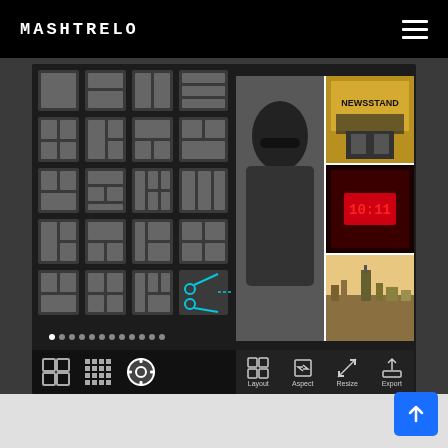MASHTRELO
[Figure (screenshot): Mobile app screenshot showing Mashtrelo photo collage layout selector. Left panel shows a grid of layout templates (5 rows x 4 columns). Right panel shows a photo collage with 4 photos: a black-and-white portrait, a NEWSSTAND sign, a red-lit digital clock display, and a city skyline. Bottom toolbar shows Layout, Aspect, Resize, Export buttons.]